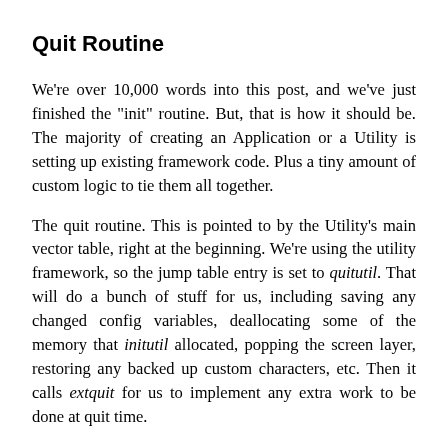Quit Routine
We're over 10,000 words into this post, and we've just finished the "init" routine. But, that is how it should be. The majority of creating an Application or a Utility is setting up existing framework code. Plus a tiny amount of custom logic to tie them all together.
The quit routine. This is pointed to by the Utility's main vector table, right at the beginning. We're using the utility framework, so the jump table entry is set to quitutil. That will do a bunch of stuff for us, including saving any changed config variables, deallocating some of the memory that initutil allocated, popping the screen layer, restoring any backed up custom characters, etc. Then it calls extquit for us to implement any extra work to be done at quit time.
The only thing that needs to be done is to deallocate memory that was explicitly allocated. We allocated memory for the TKList class, the Directory Library, and